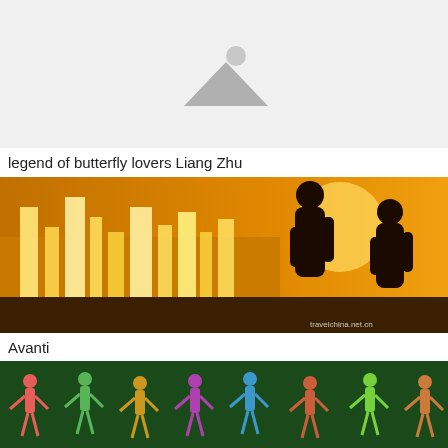[Figure (photo): Placeholder image with grey background and a mountains/landscape icon in the center]
legend of butterfly lovers Liang Zhu
[Figure (photo): Scene from the animated film 'legend of butterfly lovers Liang Zhu' showing silhouettes of two figures against a golden glowing city background; watermark reads travelchina.net.cn]
Avanti
[Figure (photo): Scene showing colorful costumed dancers performing on a dark green stage background]